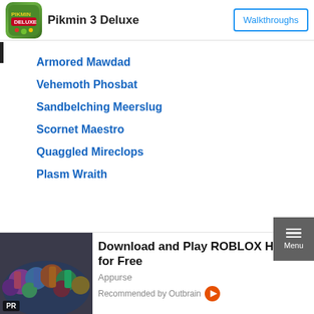Pikmin 3 Deluxe   Walkthroughs
Armored Mawdad
Vehemoth Phosbat
Sandbelching Meerslug
Scornet Maestro
Quaggled Mireclops
Plasm Wraith
[Figure (photo): Group photo of Roblox character figures/toys crowded together, colorful costumes]
Download and Play ROBLOX Here for Free
Appurse
Recommended by Outbrain